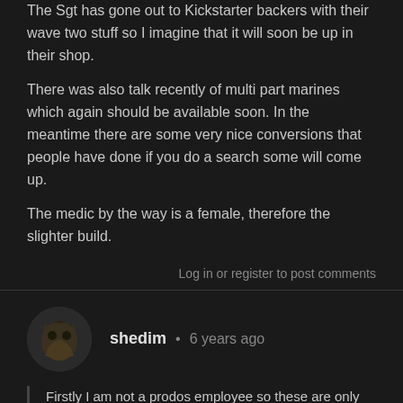The Sgt has gone out to Kickstarter backers with their wave two stuff so I imagine that it will soon be up in their shop.
There was also talk recently of multi part marines which again should be available soon. In the meantime there are some very nice conversions that people have done if you do a search some will come up.
The medic by the way is a female, therefore the slighter build.
Log in or register to post comments
shedim · 6 years ago
Firstly I am not a prodos employee so these are only what I have heard on the different Facebook groups I am a member of.
The Sgt has gone out to Kickstarter backers with